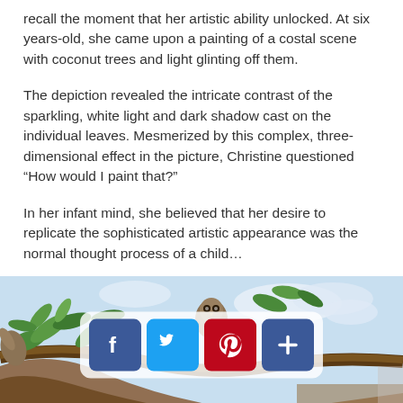recall the moment that her artistic ability unlocked. At six years-old, she came upon a painting of a costal scene with coconut trees and light glinting off them.
The depiction revealed the intricate contrast of the sparkling, white light and dark shadow cast on the individual leaves. Mesmerized by this complex, three-dimensional effect in the picture, Christine questioned “How would I paint that?”
In her infant mind, she believed that her desire to replicate the sophisticated artistic appearance was the normal thought process of a child…
[Figure (photo): A painting showing tropical foliage with green leaves and branches, a small animal visible among the leaves, with a blue sky background. Social media sharing buttons (Facebook, Twitter, Pinterest, and a plus/more button) are overlaid on the image.]